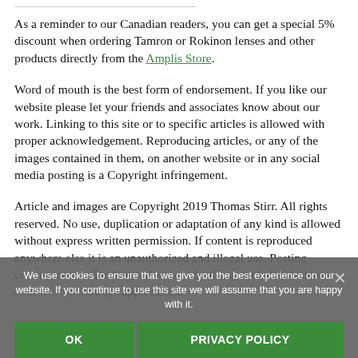As a reminder to our Canadian readers, you can get a special 5% discount when ordering Tamron or Rokinon lenses and other products directly from the Amplis Store.
Word of mouth is the best form of endorsement. If you like our website please let your friends and associates know about our work. Linking to this site or to specific articles is allowed with proper acknowledgement. Reproducing articles, or any of the images contained in them, on another website or in any social media posting is a Copyright infringement.
Article and images are Copyright 2019 Thomas Stirr. All rights reserved. No use, duplication or adaptation of any kind is allowed without express written permission. If content is reproduced anywhere else it is an unauthorized and illegal use. Posting comments on offending websites and calling out individuals who do this, while always appreciated!
We use cookies to ensure that we give you the best experience on our website. If you continue to use this site we will assume that you are happy with it.